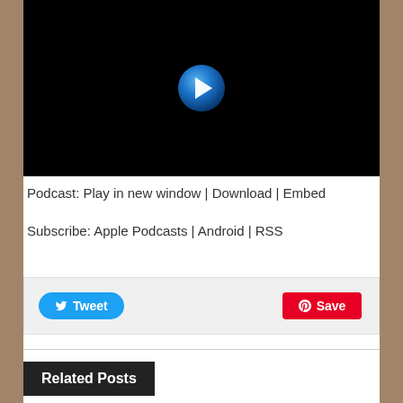[Figure (screenshot): Video player with black background and a blue circular play button in the center]
Podcast: Play in new window | Download | Embed
Subscribe: Apple Podcasts | Android | RSS
[Figure (other): Social sharing bar with Tweet button (blue) and Save button (red/Pinterest)]
Related Posts